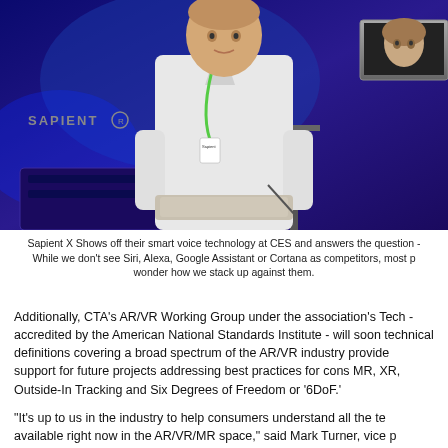[Figure (photo): A person in a white lab coat wearing a green lanyard stands at a booth labeled 'SAPIENT X' with blue-purple lighting. They hold a tablet/notebook. To the right is a laptop showing a face on screen.]
Sapient X Shows off their smart voice technology at CES and answers the question - While we don't see Siri, Alexa, Google Assistant or Cortana as competitors, most p wonder how we stack up against them.
Additionally, CTA's AR/VR Working Group under the association's Tech - accredited by the American National Standards Institute - will soon technical definitions covering a broad spectrum of the AR/VR industry provide support for future projects addressing best practices for cons MR, XR, Outside-In Tracking and Six Degrees of Freedom or '6DoF.'
"It's up to us in the industry to help consumers understand all the te available right now in the AR/VR/MR space," said Mark Turner, vice p